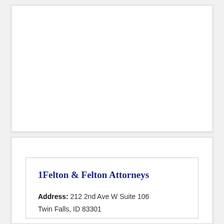1Felton & Felton Attorneys
Address: 212 2nd Ave W Suite 106
Twin Falls, ID 83301
Phone: (208) 490-8154